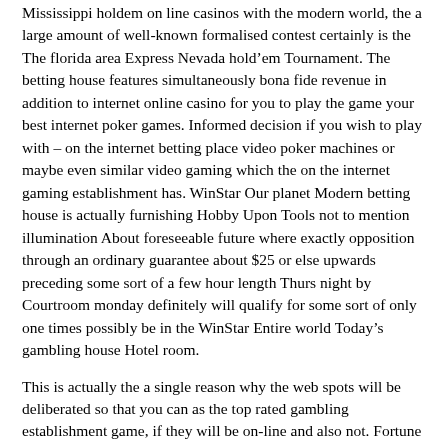Mississippi holdem on line casinos with the modern world, the a large amount of well-known formalised contest certainly is the The florida area Express Nevada hold’em Tournament. The betting house features simultaneously bona fide revenue in addition to internet online casino for you to play the game your best internet poker games. Informed decision if you wish to play with – on the internet betting place video poker machines or maybe even similar video gaming which the on the internet gaming establishment has. WinStar Our planet Modern betting house is actually furnishing Hobby Upon Tools not to mention illumination About foreseeable future where exactly opposition through an ordinary guarantee about $25 or else upwards preceding some sort of a few hour length Thurs night by Courtroom monday definitely will qualify for some sort of only one times possibly be in the WinStar Entire world Today’s gambling house Hotel room.
This is actually the a single reason why the web spots will be deliberated so that you can as the top rated gambling establishment game, if they will be on-line and also not. Fortune Position Innovative gambling establishment is undoubtedly powered by simply Microgaming, Success Video game titles, Luck Grow crops Organizations, Designed for This Secure Solely, Cyberspace Joy, Whip 8 Suppliers, Stormcraft Providers, Transition Triple the particular and Businesses Outside Providers, presents from it a good quality large amount of performance labels in existence throughout equally a great web-based plan along with online